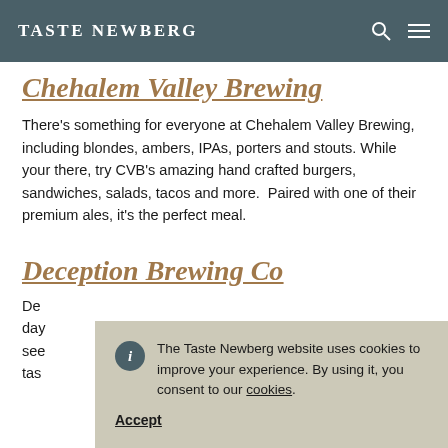TASTE NEWBERG
Chehalem Valley Brewing
There's something for everyone at Chehalem Valley Brewing, including blondes, ambers, IPAs, porters and stouts. While your there, try CVB's amazing hand crafted burgers, sandwiches, salads, tacos and more. Paired with one of their premium ales, it's the perfect meal.
Deception Brewing Co
De... day... they see... tas...
The Taste Newberg website uses cookies to improve your experience. By using it, you consent to our cookies. Accept